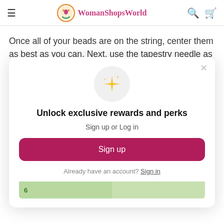≡  WomanShopsWorld  🔍 🛒
Once all of your beads are on the string, center them as best as you can. Next, use the tapestry needle as an awl to add a
[Figure (screenshot): Modal popup overlay with sparkle icon, title 'Unlock exclusive rewards and perks', subtitle 'Sign up or Log in', a pink 'Sign up' button, and a 'Already have an account? Sign in' link. Close X button in top right corner.]